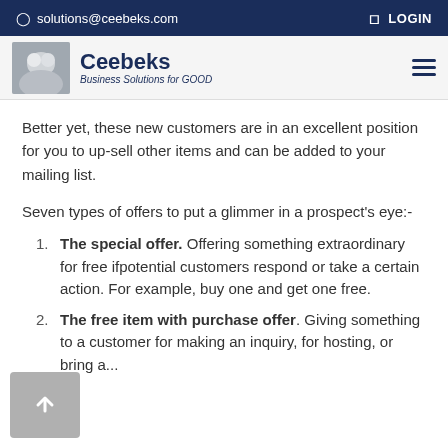solutions@ceebeks.com | LOGIN
[Figure (logo): Ceebeks logo with image and text 'Ceebeks Business Solutions for GOOD']
Better yet, these new customers are in an excellent position for you to up-sell other items and can be added to your mailing list.
Seven types of offers to put a glimmer in a prospect's eye:-
The special offer. Offering something extraordinary for free ifpotential customers respond or take a certain action. For example, buy one and get one free.
The free item with purchase offer. Giving something to a customer for making an inquiry, for hosting, or bring a...